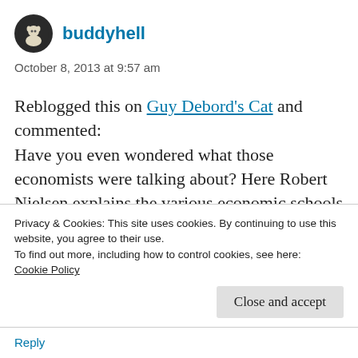[Figure (illustration): Round avatar icon with a stylized cat/figure graphic on dark background]
buddyhell
October 8, 2013 at 9:57 am
Reblogged this on Guy Debord's Cat and commented:
Have you even wondered what those economists were talking about? Here Robert Nielsen explains the various economic schools in a concise and accessible way. If you watch the news on telly, you would be forgiven for thinking there is only one valid economic
Privacy & Cookies: This site uses cookies. By continuing to use this website, you agree to their use.
To find out more, including how to control cookies, see here:
Cookie Policy
Close and accept
Reply